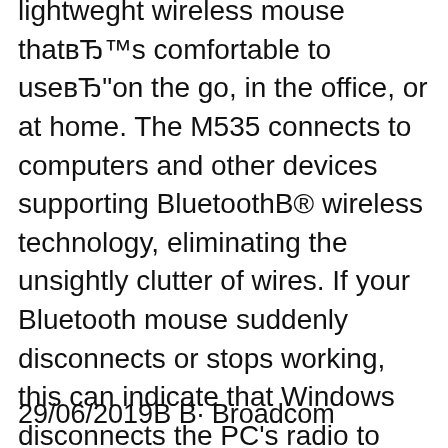lightweght wireless mouse thatвЂ™s comfortable to useвЂ"on the go, in the office, or at home. The M535 connects to computers and other devices supporting BluetoothВ® wireless technology, eliminating the unsightly clutter of wires. If your Bluetooth mouse suddenly disconnects or stops working, this can indicate that Windows disconnects the PC's radio to save power. This issue is very common for laptop users where the operating system is tuned for maximum power saving, but it can affect desktop users as well. You need to make sure that your Bluetooth radio is not being
29/06/2019В В· Broadcom